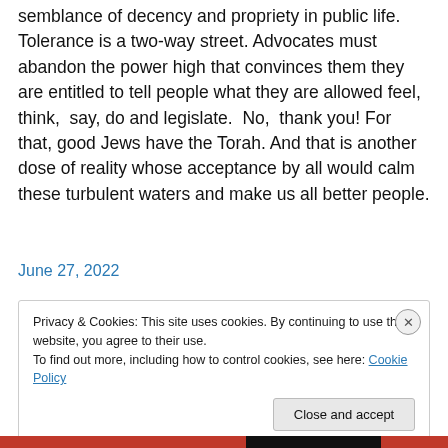semblance of decency and propriety in public life. Tolerance is a two-way street. Advocates must abandon the power high that convinces them they are entitled to tell people what they are allowed feel, think,  say, do and legislate.  No,  thank you! For that, good Jews have the Torah. And that is another dose of reality whose acceptance by all would calm these turbulent waters and make us all better people.
June 27, 2022
Privacy & Cookies: This site uses cookies. By continuing to use this website, you agree to their use.
To find out more, including how to control cookies, see here: Cookie Policy
Close and accept